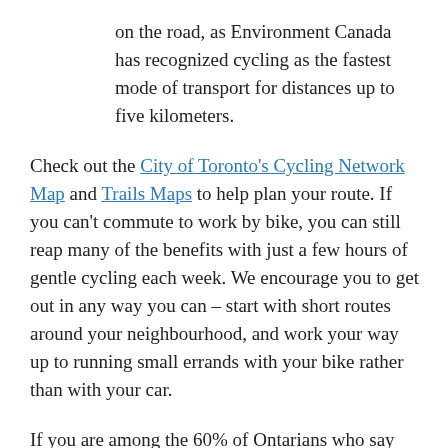on the road, as Environment Canada has recognized cycling as the fastest mode of transport for distances up to five kilometers.
Check out the City of Toronto's Cycling Network Map and Trails Maps to help plan your route. If you can't commute to work by bike, you can still reap many of the benefits with just a few hours of gentle cycling each week. We encourage you to get out in any way you can – start with short routes around your neighbourhood, and work your way up to running small errands with your bike rather than with your car.
If you are among the 60% of Ontarians who say they would cycle more often if road cycling safety was improved, click here to learn more about how Share the Road is building bicycle-safe communities, and get involved with your own